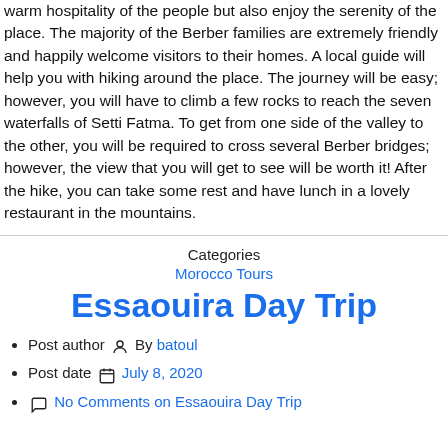warm hospitality of the people but also enjoy the serenity of the place. The majority of the Berber families are extremely friendly and happily welcome visitors to their homes. A local guide will help you with hiking around the place. The journey will be easy; however, you will have to climb a few rocks to reach the seven waterfalls of Setti Fatma. To get from one side of the valley to the other, you will be required to cross several Berber bridges; however, the view that you will get to see will be worth it! After the hike, you can take some rest and have lunch in a lovely restaurant in the mountains.
Categories
Morocco Tours
Essaouira Day Trip
Post author By batoul
Post date July 8, 2020
No Comments on Essaouira Day Trip